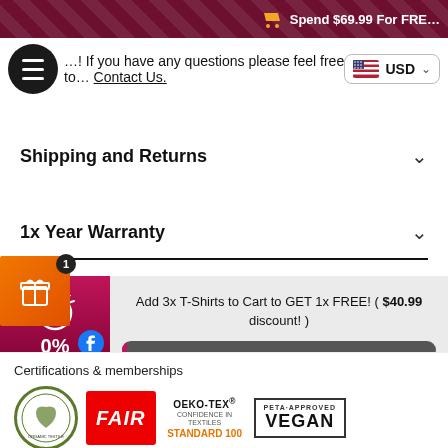Spend $69.99 For FREE shipping
If you have any questions please feel free to Contact Us.
Shipping and Returns
1x Year Warranty
Add 3x T-Shirts to Cart to GET 1x FREE! ( $40.99 discount! ) 0%
Certifications & memberships